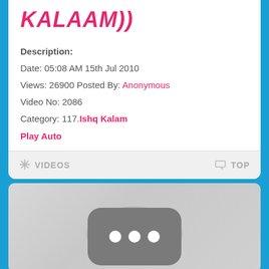KALAAM))
Description:
Date: 05:08 AM 15th Jul 2010
Views: 26900 Posted By: Anonymous
Video No: 2086
Category: 117. Ishq Kalam
Play Auto
* VIDEOS   TOP
[Figure (screenshot): Video thumbnail placeholder with a grey rounded rectangle icon containing three white dots, on a light grey gradient background]